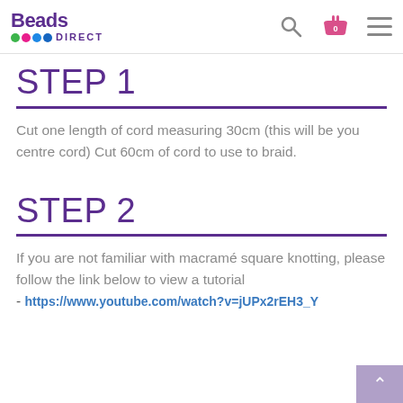Beads Direct
STEP 1
Cut one length of cord measuring 30cm (this will be you centre cord) Cut 60cm of cord to use to braid.
STEP 2
If you are not familiar with macramé square knotting, please follow the link below to view a tutorial
- https://www.youtube.com/watch?v=jUPx2rEH3_Y